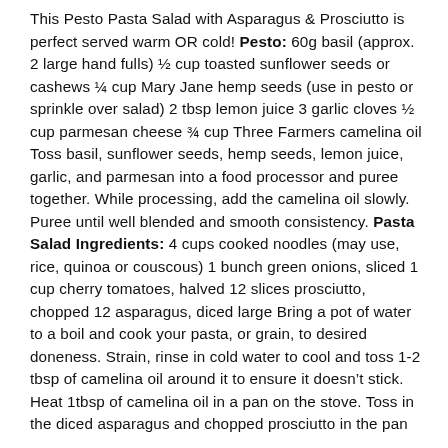This Pesto Pasta Salad with Asparagus & Prosciutto is perfect served warm OR cold! Pesto: 60g basil (approx. 2 large hand fulls) ½ cup toasted sunflower seeds or cashews ¼ cup Mary Jane hemp seeds (use in pesto or sprinkle over salad) 2 tbsp lemon juice 3 garlic cloves ½ cup parmesan cheese ¾ cup Three Farmers camelina oil Toss basil, sunflower seeds, hemp seeds, lemon juice, garlic, and parmesan into a food processor and puree together. While processing, add the camelina oil slowly. Puree until well blended and smooth consistency. Pasta Salad Ingredients: 4 cups cooked noodles (may use, rice, quinoa or couscous) 1 bunch green onions, sliced 1 cup cherry tomatoes, halved 12 slices prosciutto, chopped 12 asparagus, diced large Bring a pot of water to a boil and cook your pasta, or grain, to desired doneness. Strain, rinse in cold water to cool and toss 1-2 tbsp of camelina oil around it to ensure it doesn't stick. Heat 1tbsp of camelina oil in a pan on the stove. Toss in the diced asparagus and chopped prosciutto in the pan